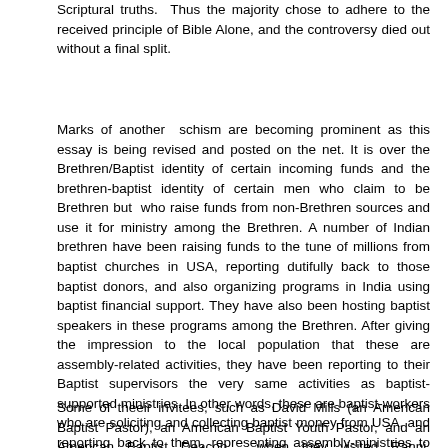Scriptural truths.  Thus the majority chose to adhere to the received principle of Bible Alone, and the controversy died out without a final split.
Marks of another  schism are becoming prominent as this essay is being revised and posted on the net. It is over the Brethren/Baptist identity of certain incoming funds and the brethren-baptist identity of certain men who claim to be Brethren but  who raise funds from non-Brethren sources and use it for ministry among the Brethren. A number of Indian brethren have been raising funds to the tune of millions from baptist churches in USA, reporting dutifully back to those baptist donors, and also organizing programs in India using baptist financial support. They have also been hosting baptist speakers in these programs among the Brethren. After giving the impression to the local population that these are assembly-related activities, they have been reporting to their Baptist supervisors the very same activities as baptist-supported ministries. In other words, these are baptist-workers who are soliciting and collecting baptist money from USA, and reporting back to them, representing assembly-ministries to them as baptist-church-ministries. These men maintain a double-identity so as to gain Baptist financial support and Brethren appreciation. Never have the assemblies been  politically so contaminated in the last one century.
Some of theeir invitees, such as David Mills (an American Baptist Pastor), an American Baptist Youth Pastor, and an American Baptist Deacon,  when they visited Ranni, Kattappana, and Gujarat, became a source of intense contention among the Brethren Assemblies, particularly in Ranni region. Though the Baptist identity of these men